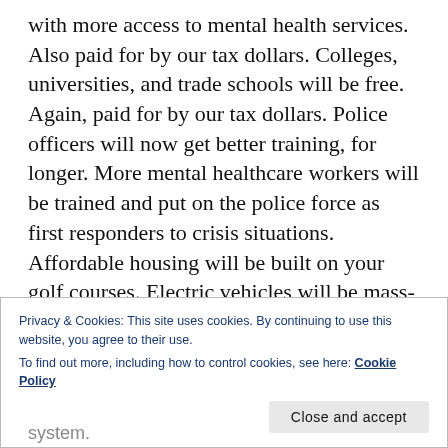with more access to mental health services. Also paid for by our tax dollars. Colleges, universities, and trade schools will be free. Again, paid for by our tax dollars. Police officers will now get better training, for longer. More mental healthcare workers will be trained and put on the police force as first responders to crisis situations. Affordable housing will be built on your golf courses. Electric vehicles will be mass-produced for less money.  More wind and solar power will be installed. Our country's infrastructure will be improved, once and for all. We will have better security at our schools. And baby formula factories that
Privacy & Cookies: This site uses cookies. By continuing to use this website, you agree to their use.
To find out more, including how to control cookies, see here: Cookie Policy
Close and accept
system.